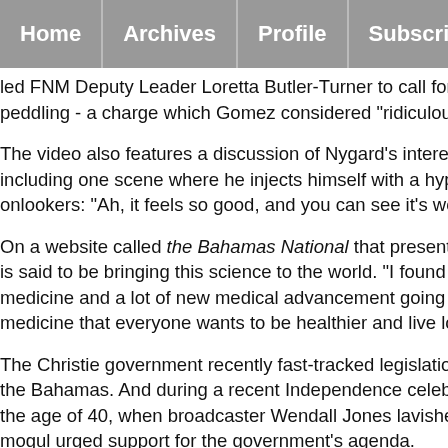Home | Archives | Profile | Subscribe
led FNM Deputy Leader Loretta Butler-Turner to call for their re peddling - a charge which Gomez considered "ridiculous".
The video also features a discussion of Nygard's interest in anti including one scene where he injects himself with a hypodermi onlookers: "Ah, it feels so good, and you can see it's working".
On a website called the Bahamas National that presents the Nyg is said to be bringing this science to the world. "I found out the medicine and a lot of new medical advancement going on," he i medicine that everyone wants to be healthier and live longer."
The Christie government recently fast-tracked legislation to fac the Bahamas. And during a recent Independence celebration ho the age of 40, when broadcaster Wendall Jones lavished praise mogul urged support for the government's agenda.
In another amusing video Nygard, with flowing blond hair and h staff, is accompanied by the Rev Simeon Hall and other courtier